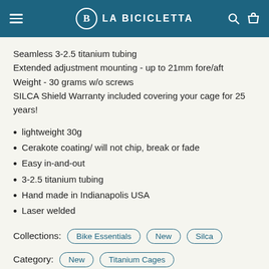LA BICICLETTA
Seamless 3-2.5 titanium tubing
Extended adjustment mounting - up to 21mm fore/aft
Weight - 30 grams w/o screws
SILCA Shield Warranty included covering your cage for 25 years!
lightweight 30g
Cerakote coating/ will not chip, break or fade
Easy in-and-out
3-2.5 titanium tubing
Hand made in Indianapolis USA
Laser welded
Collections: Bike Essentials  New  Silca
Category: New  Titanium Cages